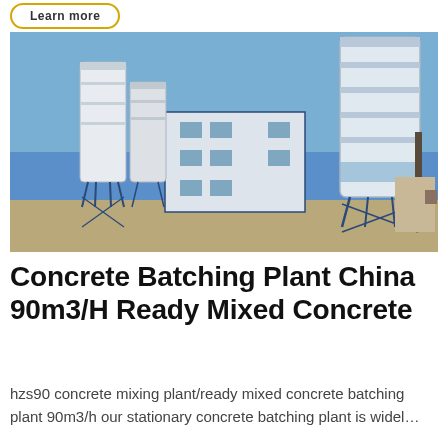Learn more
[Figure (photo): Photograph of a large concrete batching plant facility with multiple tall white cylindrical silos, blue steel support structures, and a multi-story white building, set against a blue sky.]
Concrete Batching Plant China 90m3/H Ready Mixed Concrete
hzs90 concrete mixing plant/ready mixed concrete batching plant 90m3/h our stationary concrete batching plant is widel…